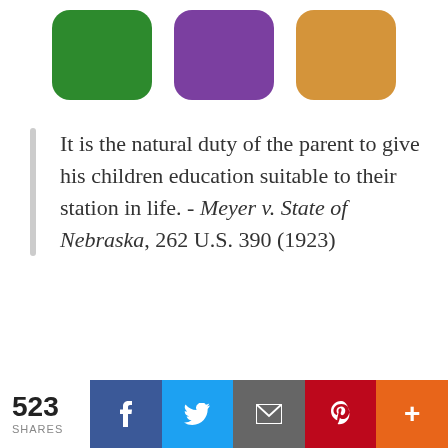[Figure (illustration): Three rounded square icons in green, purple, and gold/orange colors partially visible at top of page]
It is the natural duty of the parent to give his children education suitable to their station in life. - Meyer v. State of Nebraska, 262 U.S. 390 (1923)
[Figure (infographic): Pagination dots: 11 circles, first one darker (active), rest light gray]
523 SHARES  [Facebook] [Twitter] [Email] [Pinterest] [More]